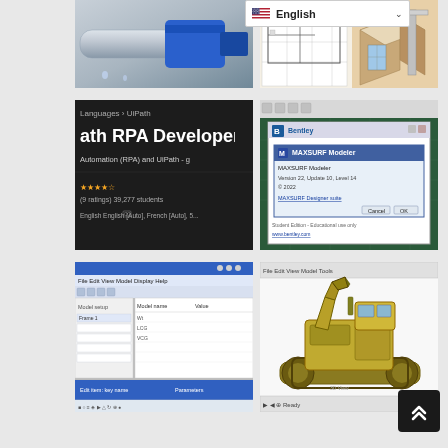[Figure (screenshot): Screenshot of mechanical/hydraulic connector or tool with blue connector piece on grey pipe, close-up photo]
[Figure (screenshot): Technical blueprint/CAD drawing with floor plan grid on left and 3D architectural isometric view on right with beige/wooden tones]
[Figure (screenshot): UiPath RPA Developer course page on dark background showing breadcrumb Languages > UiPath, course title 'ath RPA Developer', subtitle about Automation (RPA) and UiPath, 39,277 students, English language options]
[Figure (screenshot): Bentley software dialog window showing MAXSURF Modeler module dialog on green/teal background with white popup window]
[Figure (screenshot): Software application window with blue title bar, white content area, blue toolbar at bottom, and grey menu bar, showing model setup interface]
[Figure (screenshot): 3D CAD model of a yellow tracked excavator or mining machine rendered in software application with white/grey background]
[Figure (screenshot): Language selector dropdown showing English with US flag and dropdown arrow chevron]